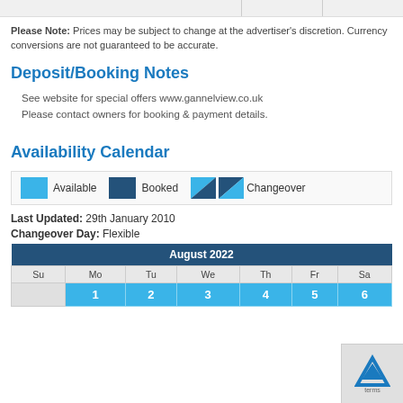Please Note: Prices may be subject to change at the advertiser's discretion. Currency conversions are not guaranteed to be accurate.
Deposit/Booking Notes
See website for special offers www.gannelview.co.uk
Please contact owners for booking & payment details.
Availability Calendar
[Figure (infographic): Legend showing Available (light blue square), Booked (dark blue square), Changeover (half light blue / half dark blue triangles)]
Last Updated: 29th January 2010
Changeover Day: Flexible
| Su | Mo | Tu | We | Th | Fr | Sa |
| --- | --- | --- | --- | --- | --- | --- |
| August 2022 |
| Su | Mo | Tu | We | Th | Fr | Sa |
|  | 1 | 2 | 3 | 4 | 5 | 6 |